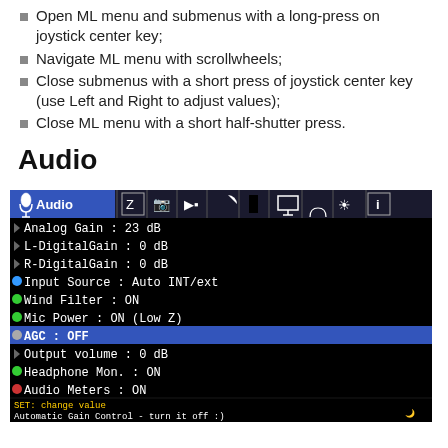Open ML menu and submenus with a long-press on joystick center key;
Navigate ML menu with scrollwheels;
Close submenus with a short press of joystick center key (use Left and Right to adjust values);
Close ML menu with a short half-shutter press.
Audio
[Figure (screenshot): Screenshot of Magic Lantern Audio menu showing settings: Analog Gain 23 dB, L-DigitalGain 0 dB, R-DigitalGain 0 dB, Input Source Auto INT/ext, Wind Filter ON, Mic Power ON (Low Z), AGC OFF (highlighted in blue), Output volume 0 dB, Headphone Mon. ON, Audio Meters ON. Bottom shows L INT -40, R INT -40 meters, SET: change value, Automatic Gain Control - turn it off :)]